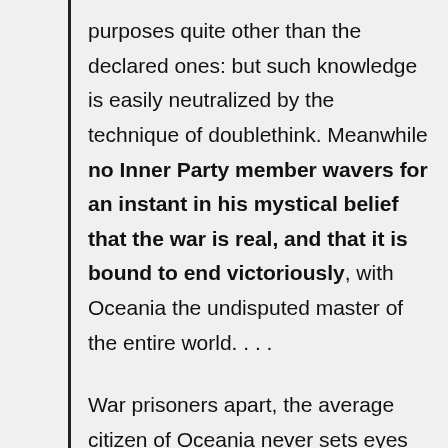purposes quite other than the declared ones: but such knowledge is easily neutralized by the technique of doublethink. Meanwhile no Inner Party member wavers for an instant in his mystical belief that the war is real, and that it is bound to end victoriously, with Oceania the undisputed master of the entire world. . . .
War prisoners apart, the average citizen of Oceania never sets eyes on a citizen of either Eurasia or Eastasia, and he is forbidden the knowledge of foreign languages. If he were allowed contact